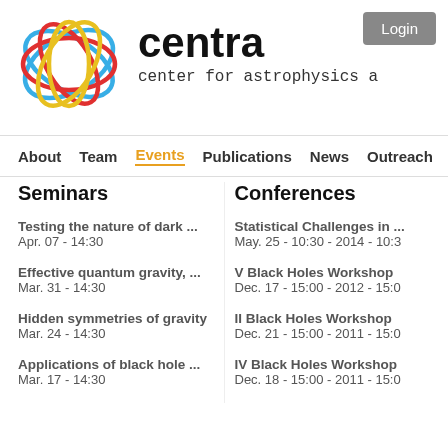[Figure (logo): CENTRA logo: overlapping colored ellipses in blue, red, and yellow forming a sphere-like shape]
centra
center for astrophysics a
Login
About  Team  Events  Publications  News  Outreach  Con
Seminars
Conferences
Testing the nature of dark ...
Apr. 07 - 14:30
Statistical Challenges in ...
May. 25 - 10:30 - 2014 - 10:3
Effective quantum gravity, ...
Mar. 31 - 14:30
V Black Holes Workshop
Dec. 17 - 15:00 - 2012 - 15:0
Hidden symmetries of gravity
Mar. 24 - 14:30
II Black Holes Workshop
Dec. 21 - 15:00 - 2011 - 15:0
Applications of black hole ...
Mar. 17 - 14:30
IV Black Holes Workshop
Dec. 18 - 15:00 - 2011 - 15:0